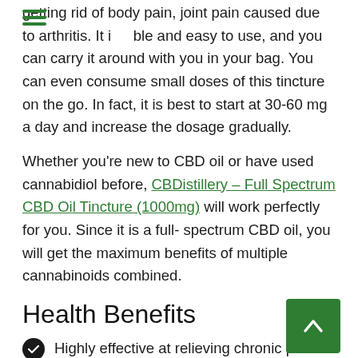getting rid of body pain, joint pain caused due to arthritis. It is portable and easy to use, and you can carry it around with you in your bag. You can even consume small doses of this tincture on the go. In fact, it is best to start at 30-60 mg a day and increase the dosage gradually.
Whether you're new to CBD oil or have used cannabidiol before, CBDistillery – Full Spectrum CBD Oil Tincture (1000mg) will work perfectly for you. Since it is a full-spectrum CBD oil, you will get the maximum benefits of multiple cannabinoids combined.
Health Benefits
Highly effective at relieving chronic pain.
Great at inducing sleep.